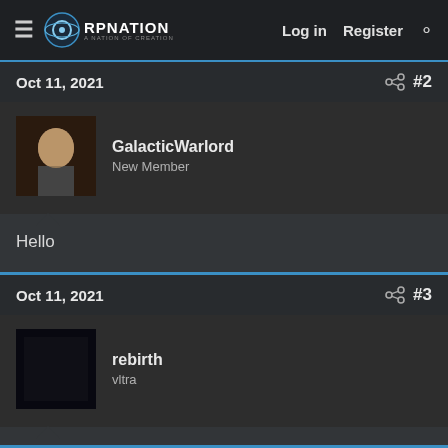RPNation — Log in  Register
Oct 11, 2021  #2
GalacticWarlord
New Member
Hello
Oct 11, 2021  #3
rebirth
vltra
heyyyy what's up